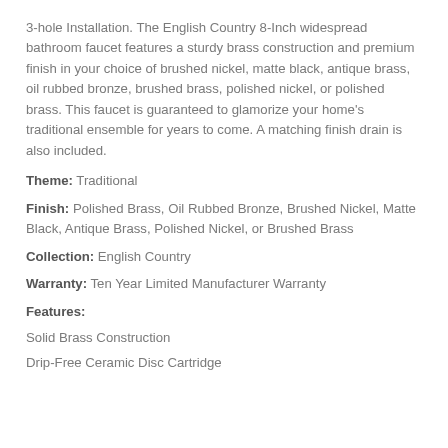3-hole Installation. The English Country 8-Inch widespread bathroom faucet features a sturdy brass construction and premium finish in your choice of brushed nickel, matte black, antique brass, oil rubbed bronze, brushed brass, polished nickel, or polished brass. This faucet is guaranteed to glamorize your home's traditional ensemble for years to come. A matching finish drain is also included.
Theme: Traditional
Finish: Polished Brass, Oil Rubbed Bronze, Brushed Nickel, Matte Black, Antique Brass, Polished Nickel, or Brushed Brass
Collection: English Country
Warranty: Ten Year Limited Manufacturer Warranty
Features:
Solid Brass Construction
Drip-Free Ceramic Disc Cartridge